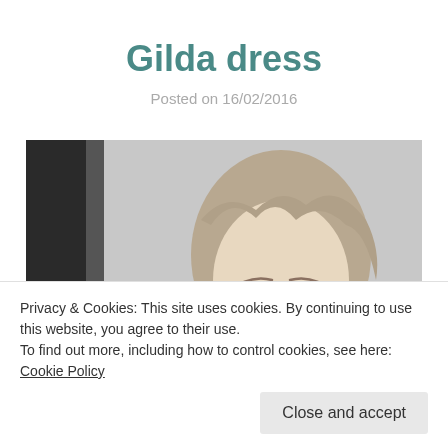Gilda dress
Posted on 16/02/2016
[Figure (photo): Black and white photograph of a woman (Rita Hayworth) smiling with wavy blonde hair, partially cropped, showing face and upper body]
Privacy & Cookies: This site uses cookies. By continuing to use this website, you agree to their use.
To find out more, including how to control cookies, see here: Cookie Policy
Close and accept